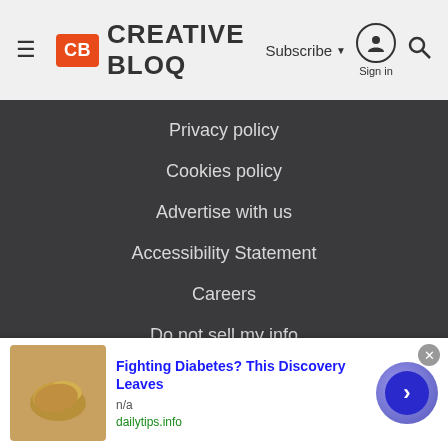CB Creative Bloq | Subscribe | Sign in
Privacy policy
Cookies policy
Advertise with us
Accessibility Statement
Careers
Do not sell my info
© Future Publishing Limited Quay House, The Ambury, Bath
[Figure (screenshot): Advertisement banner: Fighting Diabetes? This Discovery Leaves — n/a — dailytips.info, with cashew nut image and arrow button]